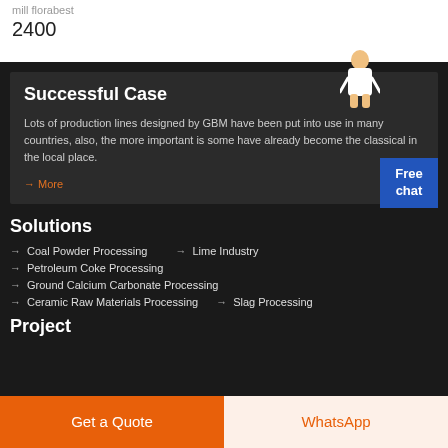mill florabest
2400
Successful Case
Lots of production lines designed by GBM have been put into use in many countries, also, the more important is some have already become the classical in the local place.
→ More
Solutions
Coal Powder Processing
Lime Industry
Petroleum Coke Processing
Ground Calcium Carbonate Processing
Ceramic Raw Materials Processing
Slag Processing
Project
Get a Quote
WhatsApp